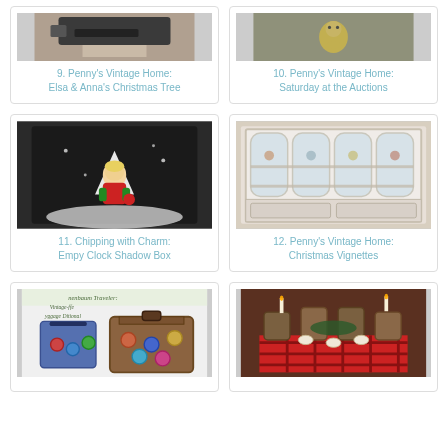[Figure (photo): Partial image of a vintage gun/staple gun on fur background]
9. Penny's Vintage Home: Elsa & Anna's Christmas Tree
[Figure (photo): Partial image of a yellow chick or duck in gravel]
10. Penny's Vintage Home: Saturday at the Auctions
[Figure (photo): A vintage Christmas ornament figurine - small blond child in red sweater in a shadow box]
11. Chipping with Charm: Empy Clock Shadow Box
[Figure (photo): A white painted hutch/cabinet filled with decorative items]
12. Penny's Vintage Home: Christmas Vignettes
[Figure (photo): Tannenbaum Traveler vintage style luggage ornaments/bags with colorful circle decorations]
[Figure (photo): A Christmas dining table set with plaid tablecloth and tea service]